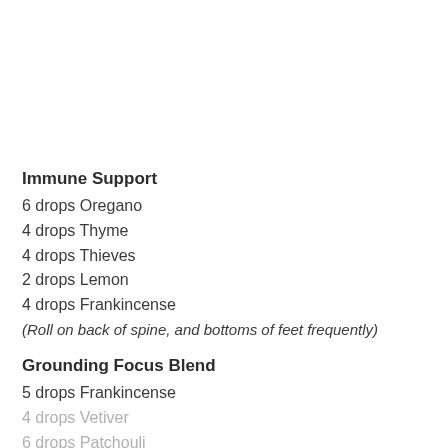Immune Support
6 drops Oregano
4 drops Thyme
4 drops Thieves
2 drops Lemon
4 drops Frankincense
(Roll on back of spine, and bottoms of feet frequently)
Grounding Focus Blend
5 drops Frankincense
4 drops Vetiver
6 drops Patchouli
(Roll on wrists, or behind ears, as needed)